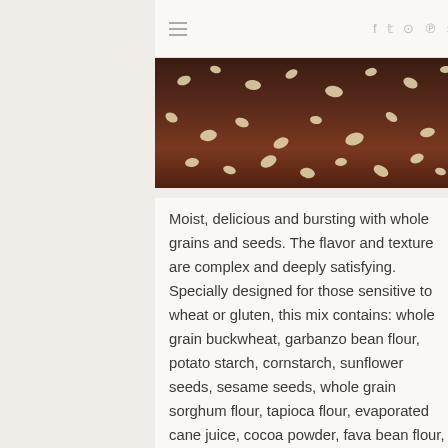≡  f  t  ◎  ℗  ▷
[Figure (photo): Close-up photograph of oat flakes and seeds scattered on a dark brown/chocolate colored surface]
Moist, delicious and bursting with whole grains and seeds. The flavor and texture are complex and deeply satisfying. Specially designed for those sensitive to wheat or gluten, this mix contains: whole grain buckwheat, garbanzo bean flour, potato starch, cornstarch, sunflower seeds, sesame seeds, whole grain sorghum flour, tapioca flour, evaporated cane juice, cocoa powder, fava bean flour, molasses powder (molasses, maltodextrin, silicon dioxide), xanthan gum, caraway seeds